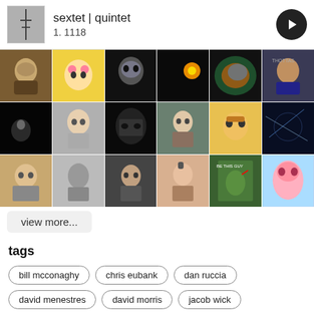sextet | quintet
1. 1118
[Figure (photo): Grid of 18 user avatar profile photos arranged in 3 rows of 6]
view more...
tags
bill mcconaghy
chris eubank
dan ruccia
david menestres
david morris
jacob wick